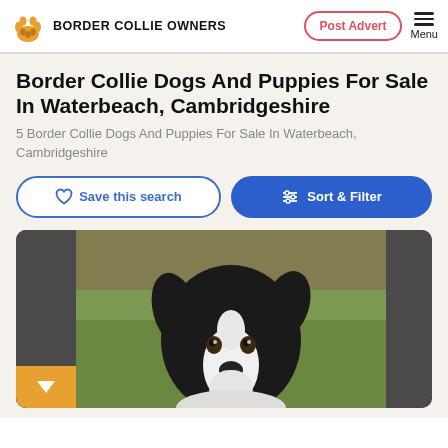BORDER COLLIE OWNERS
Border Collie Dogs And Puppies For Sale In Waterbeach, Cambridgeshire
5 Border Collie Dogs And Puppies For Sale In Waterbeach, Cambridgeshire
Save this search
Sort & Filter
[Figure (photo): Border Collie dog close-up facing camera, black and white coloring, outdoor background]